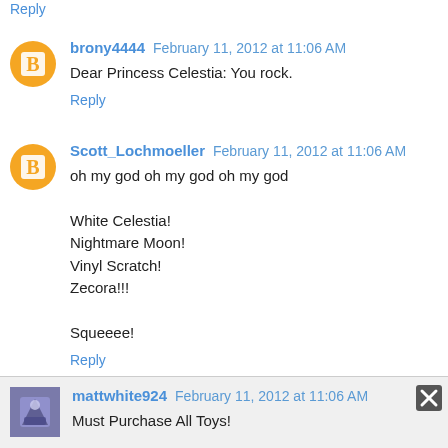Do want.
Reply
brony4444 February 11, 2012 at 11:06 AM
Dear Princess Celestia: You rock.
Reply
Scott_Lochmoeller February 11, 2012 at 11:06 AM
oh my god oh my god oh my god

White Celestia!
Nightmare Moon!
Vinyl Scratch!
Zecora!!!

Squeeee!
Reply
mattwhite924 February 11, 2012 at 11:06 AM
Must Purchase All Toys!